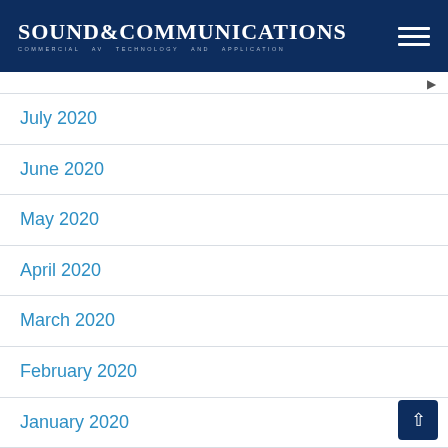SOUND & COMMUNICATIONS COMMERCIAL AV TECHNOLOGY AND APPLICATION
July 2020
June 2020
May 2020
April 2020
March 2020
February 2020
January 2020
December 2019